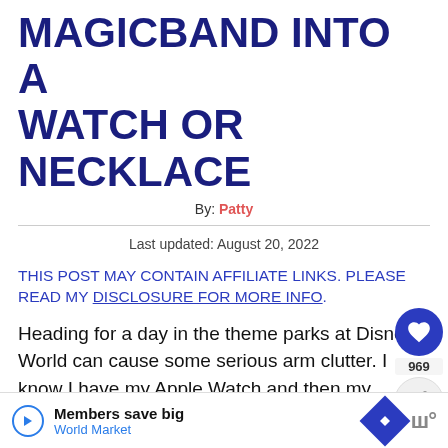MAGICBAND INTO A WATCH OR NECKLACE
By: Patty
Last updated: August 20, 2022
THIS POST MAY CONTAIN AFFILIATE LINKS. PLEASE READ MY DISCLOSURE FOR MORE INFO.
Heading for a day in the theme parks at Disney World can cause some serious arm clutter. I know I have my Apple Watch and then my MagicBand which leaves me oh so little room for my favorite bracelets. I was so sick of all the clutter so I set off to